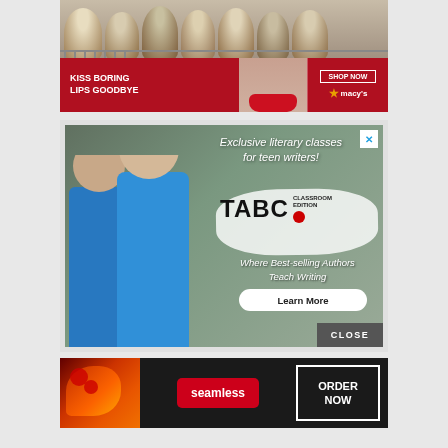[Figure (photo): Macy's advertisement banner showing cupcakes on top and a woman with red lips below with 'KISS BORING LIPS GOODBYE' text and 'SHOP NOW' button with Macy's star logo]
[Figure (photo): TABC Classroom Edition advertisement showing two teen girls in blue t-shirts, with text 'Exclusive literary classes for teen writers!' and TABC logo with 'Where Best-selling Authors Teach Writing' and 'Learn More' button. Has an X close button and CLOSE bar.]
[Figure (photo): Seamless food delivery advertisement showing pizza on the left, Seamless logo in red, and 'ORDER NOW' button on the right against dark background]